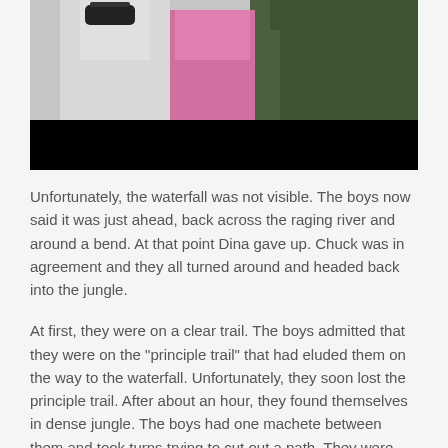[Figure (photo): Partial photo of two people, one in white and one in pink top, with jungle/green foliage in background. Lower portion of image is a black bar (video player letterbox).]
Unfortunately, the waterfall was not visible. The boys now said it was just ahead, back across the raging river and around a bend. At that point Dina gave up. Chuck was in agreement and they all turned around and headed back into the jungle.
At first, they were on a clear trail. The boys admitted that they were on the "principle trail" that had eluded them on the way to the waterfall. Unfortunately, they soon lost the principle trail. After about an hour, they found themselves in dense jungle. The boys had one machete between them and took turns trying to cut out a path. They were often crawling